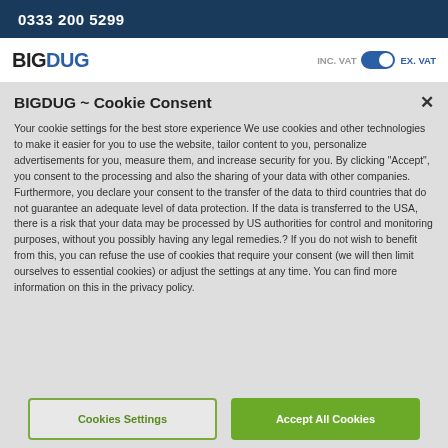0333 200 5299
[Figure (logo): BIGDUG logo with BIG in black and DUG in blue bold text]
INC. VAT  EX. VAT  (toggle switch)
BIGDUG ~ Cookie Consent
Your cookie settings for the best store experience We use cookies and other technologies to make it easier for you to use the website, tailor content to you, personalize advertisements for you, measure them, and increase security for you. By clicking "Accept", you consent to the processing and also the sharing of your data with other companies. Furthermore, you declare your consent to the transfer of the data to third countries that do not guarantee an adequate level of data protection. If the data is transferred to the USA, there is a risk that your data may be processed by US authorities for control and monitoring purposes, without you possibly having any legal remedies.? If you do not wish to benefit from this, you can refuse the use of cookies that require your consent (we will then limit ourselves to essential cookies) or adjust the settings at any time. You can find more information on this in the privacy policy.
Cookies Settings
Accept All Cookies